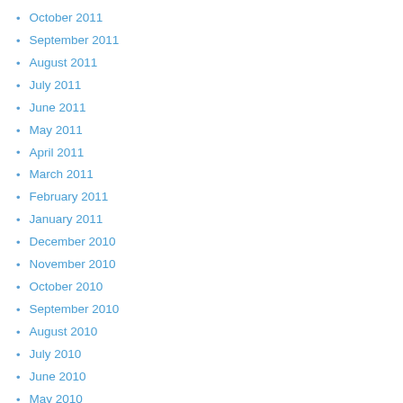October 2011
September 2011
August 2011
July 2011
June 2011
May 2011
April 2011
March 2011
February 2011
January 2011
December 2010
November 2010
October 2010
September 2010
August 2010
July 2010
June 2010
May 2010
April 2010